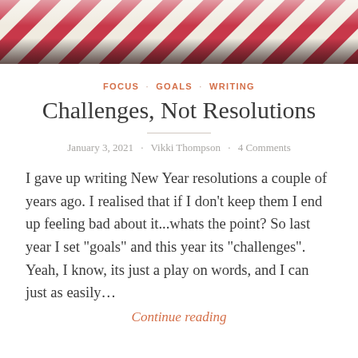[Figure (photo): Candy cane striped decorative banner at top of page, diagonal red and white stripes pattern with blurred edges]
FOCUS · GOALS · WRITING
Challenges, Not Resolutions
January 3, 2021 · Vikki Thompson · 4 Comments
I gave up writing New Year resolutions a couple of years ago. I realised that if I don't keep them I end up feeling bad about it...whats the point? So last year I set "goals" and this year its "challenges". Yeah, I know, its just a play on words, and I can just as easily...
Continue reading